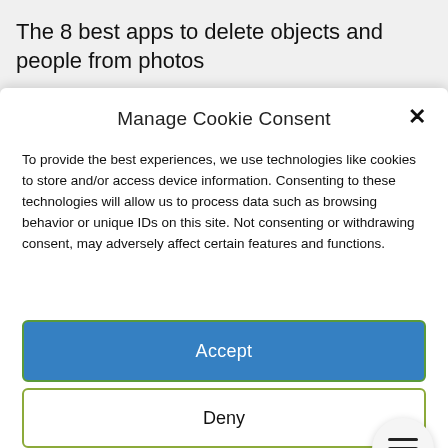The 8 best apps to delete objects and people from photos
Manage Cookie Consent
To provide the best experiences, we use technologies like cookies to store and/or access device information. Consenting to these technologies will allow us to process data such as browsing behavior or unique IDs on this site. Not consenting or withdrawing consent, may adversely affect certain features and functions.
Accept
Deny
View preferences
Cookie Policy   Privacy Statement